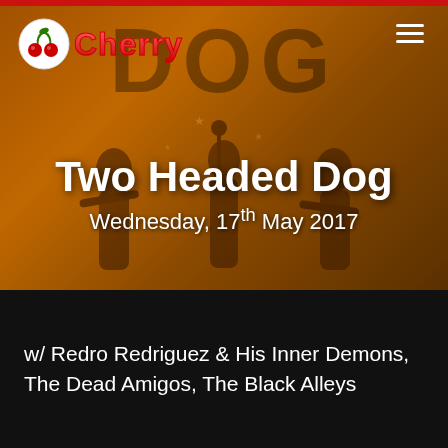[Figure (photo): Hero image of band Two Headed Dog performing live, sepia-toned with orange gradient background. Large 'DOG' text visible behind performers.]
Two Headed Dog
Wednesday, 17th May 2017
w/ Redro Redriguez & His Inner Demons, The Dead Amigos, The Black Alleys